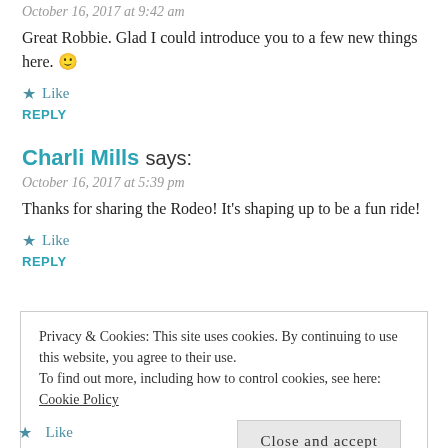October 16, 2017 at 9:42 am
Great Robbie. Glad I could introduce you to a few new things here. 🙂
★ Like
REPLY
Charli Mills says:
October 16, 2017 at 5:39 pm
Thanks for sharing the Rodeo! It's shaping up to be a fun ride!
★ Like
REPLY
Privacy & Cookies: This site uses cookies. By continuing to use this website, you agree to their use. To find out more, including how to control cookies, see here: Cookie Policy
Close and accept
★ Like